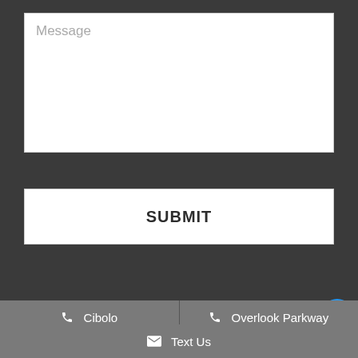Message
SUBMIT
Cibolo
Overlook Parkway
Text Us